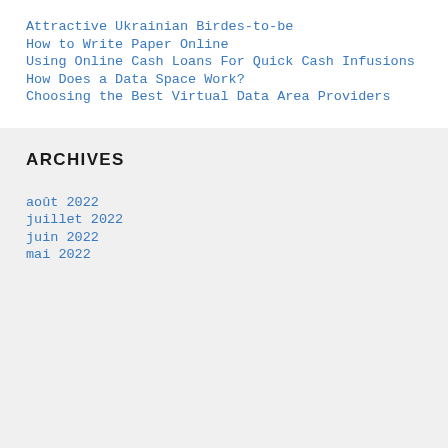Attractive Ukrainian Birdes-to-be
How to Write Paper Online
Using Online Cash Loans For Quick Cash Infusions
How Does a Data Space Work?
Choosing the Best Virtual Data Area Providers
ARCHIVES
août 2022
juillet 2022
juin 2022
mai 2022